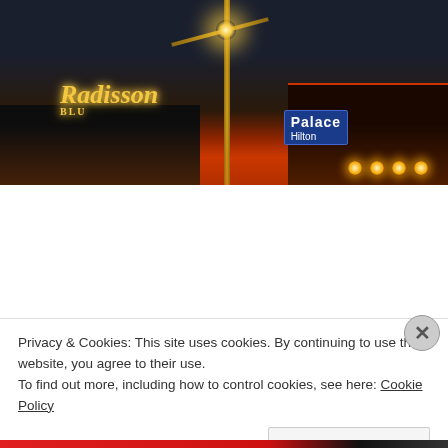[Figure (photo): Nighttime cityscape showing the Radisson hotel sign in yellow neon on the left, a Palace hotel sign in blue on the right, and a tall crane or antenna pole in the center with a bright light at the top. Buildings are silhouetted against a dark blue-grey sky with orange/red glowing lights along the rooflines.]
[Figure (photo): Close-up photograph of the top portion of a man's face — forehead with visible wrinkles, grey hair, and one eye partially visible. The image is cropped tightly showing mostly the forehead and hairline.]
Privacy & Cookies: This site uses cookies. By continuing to use this website, you agree to their use.
To find out more, including how to control cookies, see here: Cookie Policy
Close and accept